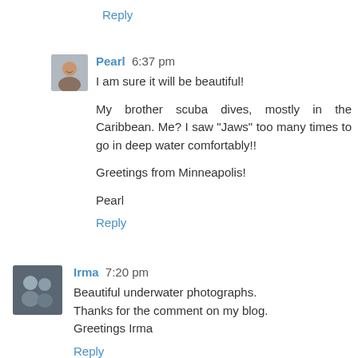Reply
[Figure (photo): Small square avatar photo of Pearl, a woman smiling]
Pearl 6:37 pm
I am sure it will be beautiful!

My brother scuba dives, mostly in the Caribbean. Me? I saw "Jaws" too many times to go in deep water comfortably!!

Greetings from Minneapolis!

Pearl
Reply
[Figure (photo): Small square avatar photo of Irma, a couple of two people]
Irma 7:20 pm
Beautiful underwater photographs.
Thanks for the comment on my blog.
Greetings Irma
Reply